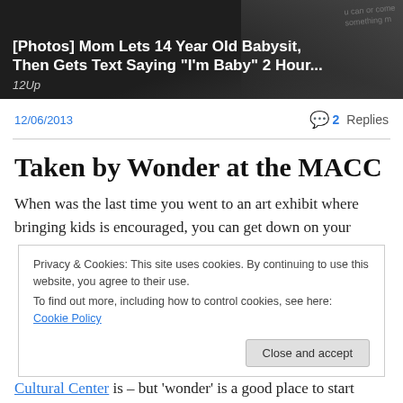[Figure (photo): Dark advertisement banner image showing a woman, with white bold text overlay: '[Photos] Mom Lets 14 Year Old Babysit, Then Gets Text Saying "I'm Baby" 2 Hour...' and italic source '12Up']
12/06/2013
2 Replies
Taken by Wonder at the MACC
When was the last time you went to an art exhibit where bringing kids is encouraged, you can get down on your
Privacy & Cookies: This site uses cookies. By continuing to use this website, you agree to their use.
To find out more, including how to control cookies, see here: Cookie Policy
Close and accept
Cultural Center is – but 'wonder' is a good place to start